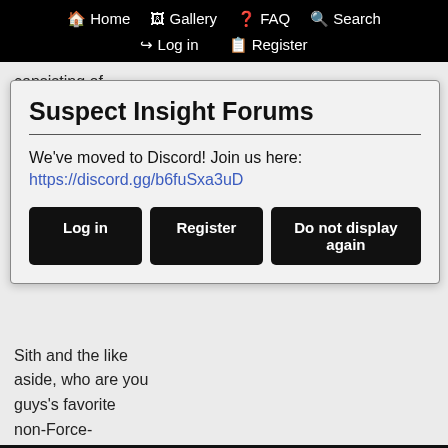Home  Gallery  FAQ  Search  Log in  Register
consisting of,
Force-users. This
Suspect Insight Forums
We've moved to Discord! Join us here:
https://discord.gg/b6fuSxa3uD
Log in   Register   Do not display again
Sith and the like aside, who are you guys's favorite non-Force-sensitives?
Sheev is in your future, Sheev is in your past